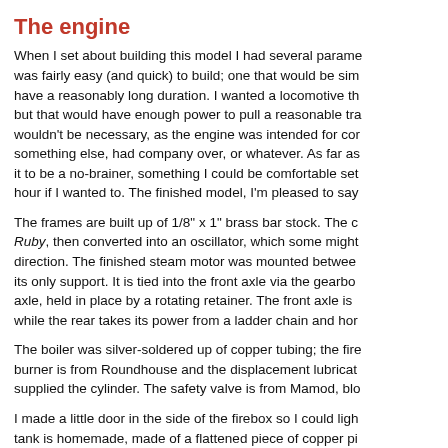The engine
When I set about building this model I had several parameters in mind. I wanted something that was fairly easy (and quick) to build; one that would be simple to operate, and one that would have a reasonably long duration. I wanted a locomotive that wouldn't require constant attention, but that would have enough power to pull a reasonable train. I wanted something where detailing wouldn't be necessary, as the engine was intended for continuous running while I was doing something else, had company over, or whatever. As far as controls go, I envisioned it to be a no-brainer, something I could be comfortable setting down and coming back in an hour if I wanted to. The finished model, I'm pleased to say, meets all those requirements.
The frames are built up of 1/8" x 1" brass bar stock. The cylinder is from Ruby, then converted into an oscillator, which some might consider going in the wrong direction. The finished steam motor was mounted between the frames, which serves as its only support. It is tied into the front axle via the gearbox, which also drives that axle, held in place by a rotating retainer. The front axle is driven by the gearbox, while the rear takes its power from a ladder chain and hornblock.
The boiler was silver-soldered up of copper tubing; the firebox is also copper. The burner is from Roundhouse and the displacement lubricator was made from one Ruby supplied the cylinder. The safety valve is from Mamod, blow-off at about 30 psi.
I made a little door in the side of the firebox so I could light the burner in place. The tank is homemade, made of a flattened piece of copper pipe with soldered end plates and cross stays. It was hydraulically tested to 100 psi. The filler cap and other fittings were donations from Ruby.